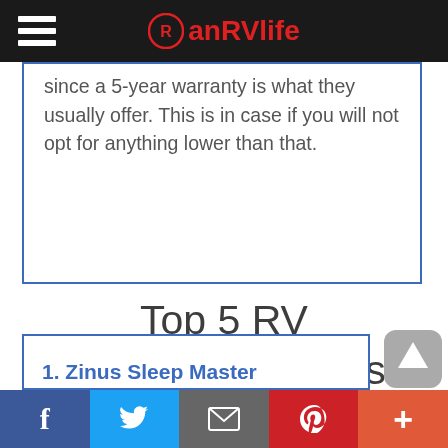anRVlife
since a 5-year warranty is what they usually offer. This is in case if you will not opt for anything lower than that.
Top 5 RV Mattress Reviews
1. Zinus Sleep Master
Facebook Twitter Email Pinterest More